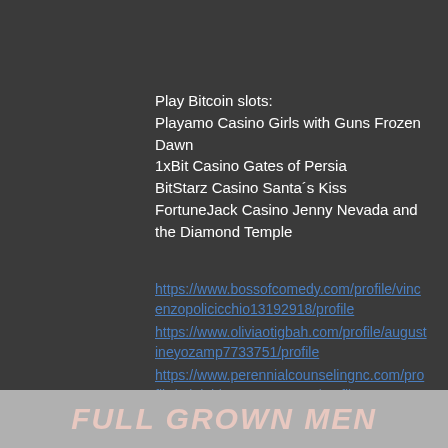Play Bitcoin slots:
Playamo Casino Girls with Guns Frozen Dawn
1xBit Casino Gates of Persia
BitStarz Casino Santa´s Kiss
FortuneJack Casino Jenny Nevada and the Diamond Temple
https://www.bossofcomedy.com/profile/vincenzopolicicchio13192918/profile
https://www.oliviaotigbah.com/profile/augustineyozamp7733751/profile
https://www.perennialcounselingnc.com/profile/adolphbagger5869508/profile
https://www.friareliv.com/profile/berryfaz5475855/profile
FULL GROWN MEN